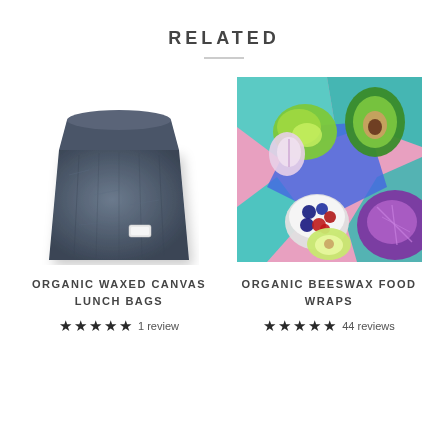RELATED
[Figure (photo): Dark navy blue organic waxed canvas lunch bag, rolled top, on white background]
ORGANIC WAXED CANVAS LUNCH BAGS
★★★★★ 1 review
[Figure (photo): Colorful organic beeswax food wraps covering avocado halves, berries in a bowl, apple, and red cabbage on a pink background]
ORGANIC BEESWAX FOOD WRAPS
★★★★★ 44 reviews